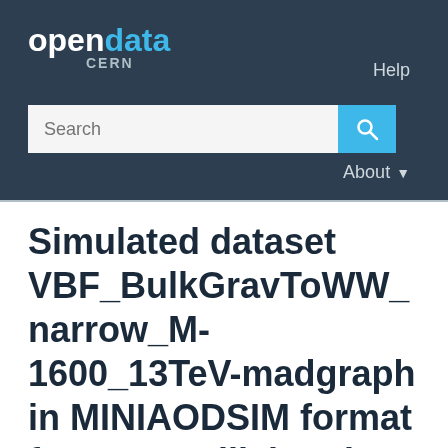opendata CERN
Simulated dataset VBF_BulkGravToWW_narrow_M-1600_13TeV-madgraph in MINIAODSIM format for 2015 collision data
/VBF_BulkGravToWW_narrow_M-1600_13TeV-madgraph/RunIIFall15MiniAODv2-